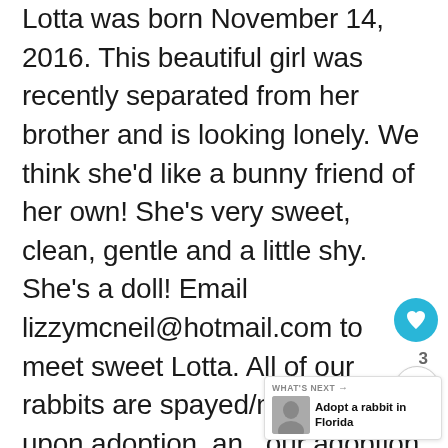Lotta was born November 14, 2016. This beautiful girl was recently separated from her brother and is looking lonely. We think she'd like a bunny friend of her own! She's very sweet, clean, gentle and a little shy. She's a doll! Email lizzymcneil@hotmail.com to meet sweet Lotta. All of our rabbits are spayed/neutered upon adoption, and our adoption fee includes the as well as a vet check-up and a